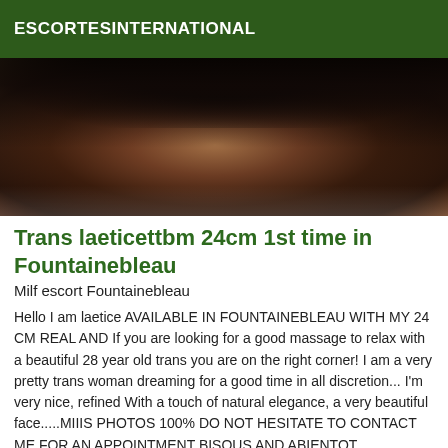ESCORTESINTERNATIONAL
[Figure (photo): Close-up photo of a dark-skinned person with long dark hair, partially visible upper body, lying on a light surface.]
Trans laeticettbm 24cm 1st time in Fountainebleau
Milf escort Fountainebleau
Hello I am laetice AVAILABLE IN FOUNTAINEBLEAU WITH MY 24 CM REAL AND If you are looking for a good massage to relax with a beautiful 28 year old trans you are on the right corner! I am a very pretty trans woman dreaming for a good time in all discretion... I'm very nice, refined With a touch of natural elegance, a very beautiful face.....MIIIS PHOTOS 100% DO NOT HESITATE TO CONTACT ME FOR AN APPOINTMENT BISOUS AND ABIENTOT